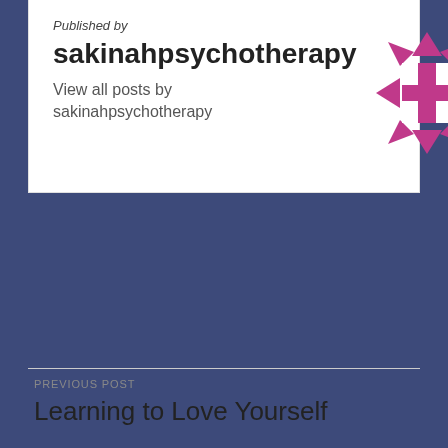Published by sakinahpsychotherapy
View all posts by sakinahpsychotherapy
[Figure (logo): Magenta/pink decorative geometric snowflake-like logo for sakinahpsychotherapy]
PREVIOUS POST
Learning to Love Yourself